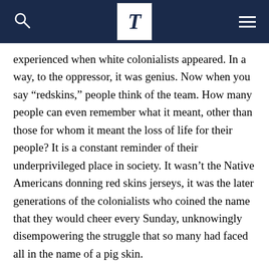T (The Times logo with search and menu icons)
experienced when white colonialists appeared. In a way, to the oppressor, it was genius. Now when you say “redskins,” people think of the team. How many people can even remember what it meant, other than those for whom it meant the loss of life for their people? It is a constant reminder of their underprivileged place in society. It wasn’t the Native Americans donning red skins jerseys, it was the later generations of the colonialists who coined the name that they would cheer every Sunday, unknowingly disempowering the struggle that so many had faced all in the name of a pig skin.
But wait, you’re just wearing that native American princess/geisha/sexy seniorita/saari costume cause you